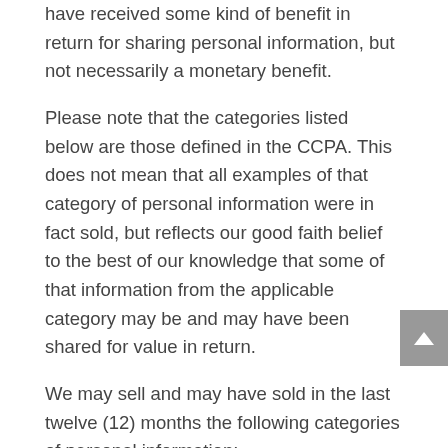have received some kind of benefit in return for sharing personal information, but not necessarily a monetary benefit.
Please note that the categories listed below are those defined in the CCPA. This does not mean that all examples of that category of personal information were in fact sold, but reflects our good faith belief to the best of our knowledge that some of that information from the applicable category may be and may have been shared for value in return.
We may sell and may have sold in the last twelve (12) months the following categories of personal information: